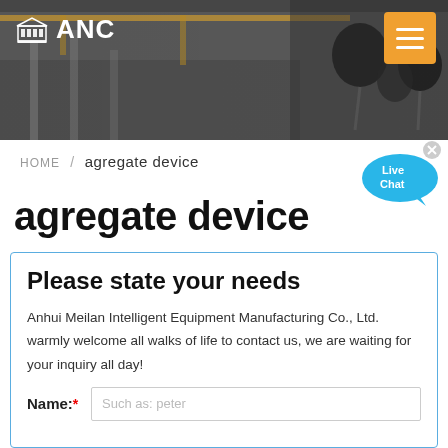[Figure (photo): Hero banner showing a factory/industrial hall on the left and studio microphones on the right, with dark overlay. ANC logo with building icon on top-left, orange hamburger menu button on top-right.]
HOME / agregate device
[Figure (illustration): Blue speech bubble with 'Live Chat' text and an X close button]
agregate device
Please state your needs
Anhui Meilan Intelligent Equipment Manufacturing Co., Ltd. warmly welcome all walks of life to contact us, we are waiting for your inquiry all day!
Name:* Such as: peter